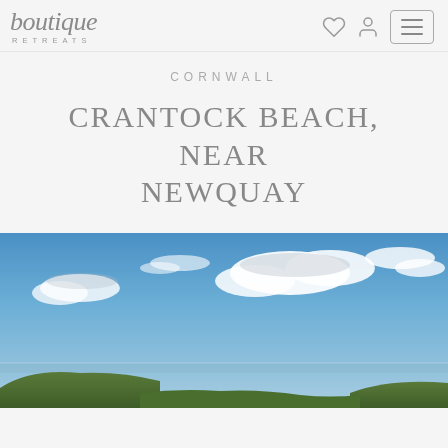boutique retreats — navigation header with logo, heart icon, user icon, and menu button
CORNWALL
CRANTOCK BEACH, NEAR NEWQUAY
[Figure (photo): Panoramic coastal landscape photo showing Crantock Beach near Newquay, Cornwall. Blue sky with white clouds above green coastal headlands.]